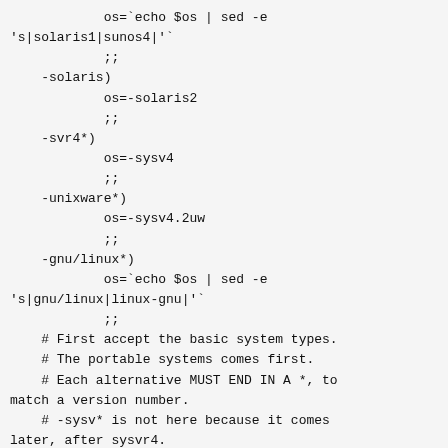os=`echo $os | sed -e 's|solaris1|sunos4|'`
        ;;
    -solaris)
            os=-solaris2
            ;;
    -svr4*)
            os=-sysv4
            ;;
    -unixware*)
            os=-sysv4.2uw
            ;;
    -gnu/linux*)
            os=`echo $os | sed -e 's|gnu/linux|linux-gnu|'`
            ;;
    # First accept the basic system types.
    # The portable systems comes first.
    # Each alternative MUST END IN A *, to match a version number.
    # -sysv* is not here because it comes later, after sysvr4.
    -gnu* | -bsd* | -mach* | -minix* | -genix* | -ultrix* | -irix* \
            | -*vms* | -sco* | -esix* | -isc* | -aix* | -sunos | -sunos[34]*\